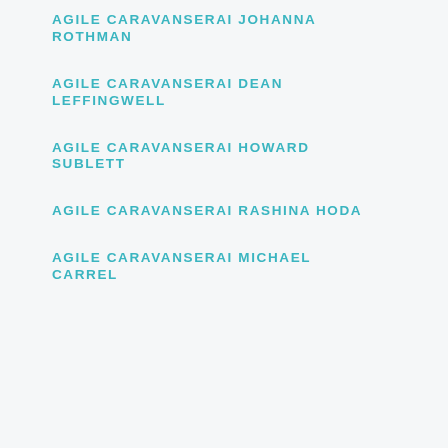AGILE CARAVANSERAI JOHANNA ROTHMAN
AGILE CARAVANSERAI DEAN LEFFINGWELL
AGILE CARAVANSERAI HOWARD SUBLETT
AGILE CARAVANSERAI RASHINA HODA
AGILE CARAVANSERAI MICHAEL CARREL